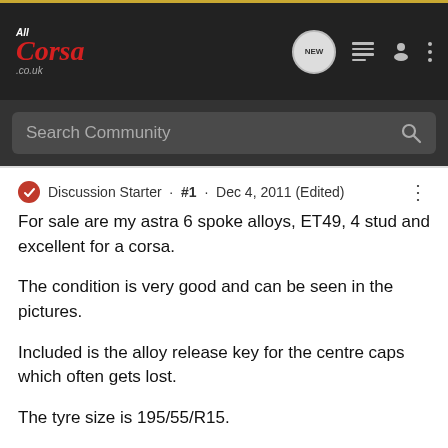[Figure (logo): AllCorsa.co.uk logo in red italic text on dark background navigation bar]
Search Community
Discussion Starter · #1 · Dec 4, 2011 (Edited)
For sale are my astra 6 spoke alloys, ET49, 4 stud and excellent for a corsa.
The condition is very good and can be seen in the pictures.
Included is the alloy release key for the centre caps which often gets lost.
The tyre size is 195/55/R15.
1x Pirelli - 5mm of tread
1x Kumho - 5mm of tread
2x Infinity - Both with 8mm of tread (literally been used for 150